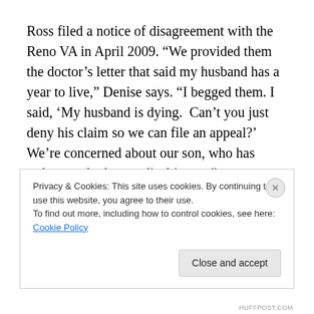Ross filed a notice of disagreement with the Reno VA in April 2009. “We provided them the doctor’s letter that said my husband has a year to live,” Denise says. “I begged them. I said, ‘My husband is dying.  Can’t you just deny his claim so we can file an appeal?’ We’re concerned about our son, who has asthma and other medical issues.”
That denial finally came this spring, a year after the Rosses’ urgent plea. They will appeal this summer. The
Privacy & Cookies: This site uses cookies. By continuing to use this website, you agree to their use.
To find out more, including how to control cookies, see here: Cookie Policy
HUFFPOST.COM